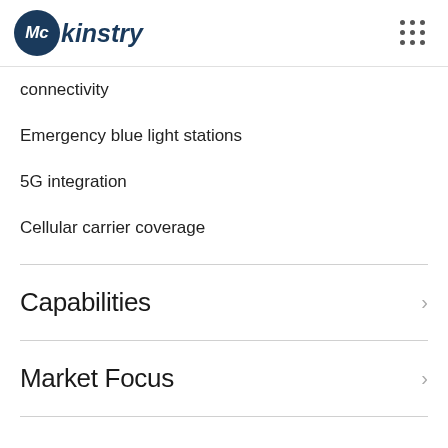McKinstry
connectivity
Emergency blue light stations
5G integration
Cellular carrier coverage
Capabilities
Market Focus